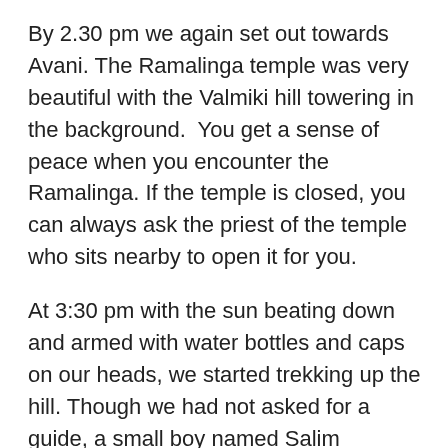By 2.30 pm we again set out towards Avani. The Ramalinga temple was very beautiful with the Valmiki hill towering in the background.  You get a sense of peace when you encounter the Ramalinga. If the temple is closed, you can always ask the priest of the temple who sits nearby to open it for you.
At 3:30 pm with the sun beating down and armed with water bottles and caps on our heads, we started trekking up the hill. Though we had not asked for a guide, a small boy named Salim accompanied us.  He was a silent companion and spoke only when he had to narrate the significance of the place. He seemed quite knowledgeable about the Valmiki hill, the Sita temple atop and the birthplace of Lav and Kusha which is believed to have taken place in Valmiki ashram on the hill.  By 5pm, we were back with no after-effects of the climb. With